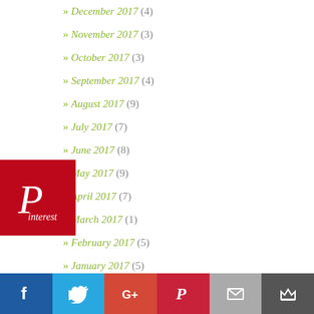» December 2017 (4)
» November 2017 (3)
» October 2017 (3)
» September 2017 (4)
» August 2017 (9)
» July 2017 (7)
» June 2017 (8)
» May 2017 (9)
» April 2017 (7)
» March 2017 (1)
» February 2017 (5)
» January 2017 (5)
» December 2016 (1)
[Figure (logo): Pinterest badge - red square with Pinterest logo and cursive P text]
[Figure (infographic): Social sharing bar with Facebook, Twitter, Google+, Pinterest, Email, and bookmark icons]